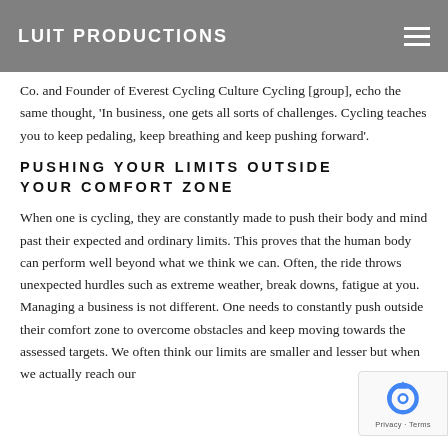LUIT PRODUCTIONS
Co. and Founder of Everest Cycling Culture Cycling [group], echo the same thought, 'In business, one gets all sorts of challenges. Cycling teaches you to keep pedaling, keep breathing and keep pushing forward'.
PUSHING YOUR LIMITS OUTSIDE YOUR COMFORT ZONE
When one is cycling, they are constantly made to push their body and mind past their expected and ordinary limits. This proves that the human body can perform well beyond what we think we can. Often, the ride throws unexpected hurdles such as extreme weather, break downs, fatigue at you. Managing a business is not different. One needs to constantly push outside their comfort zone to overcome obstacles and keep moving towards the assessed targets. We often think our limits are smaller and lesser but when we actually reach our